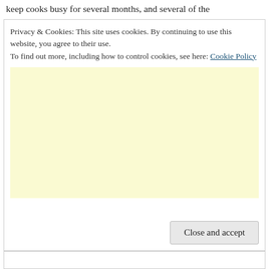keep cooks busy for several months, and several of the
Privacy & Cookies: This site uses cookies. By continuing to use this website, you agree to their use.
To find out more, including how to control cookies, see here: Cookie Policy
[Figure (other): Light yellow advertisement placeholder area]
Close and accept